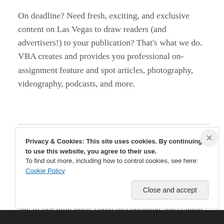On deadline? Need fresh, exciting, and exclusive content on Las Vegas to draw readers (and advertisers!) to your publication? That's what we do. VBA creates and provides you professional on-assignment feature and spot articles, photography, videography, podcasts, and more.
The articles that you see on our blog are NOT the articles we provide to our clients. We provide this blog, a mixture of new and aggregrate Las Vegas content items centralized in one location, to merely help you with Las Vegas story budget ideas. However, any of our blog posts could be converted and slanted into new stories especially designed for your needs. And what you don't see here are the huge number of exclusive
Privacy & Cookies: This site uses cookies. By continuing to use this website, you agree to their use.
To find out more, including how to control cookies, see here: Cookie Policy
Close and accept